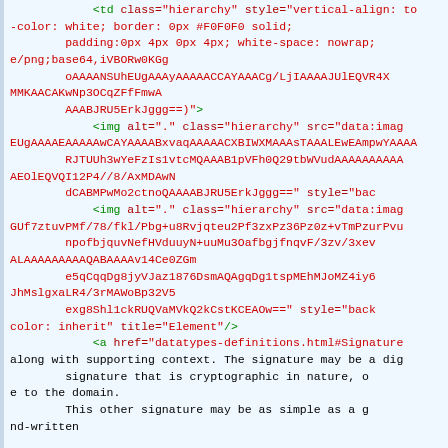Code snippet showing HTML with base64 image data, img tags with hierarchy class, anchor tags, and descriptive text about signatures and cryptographic context.